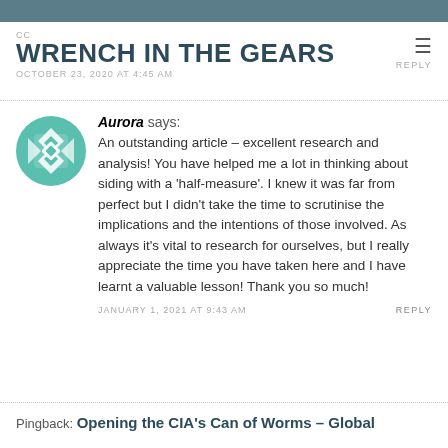WRENCH IN THE GEARS
OCTOBER 23, 2020 AT 4:45 AM
REPLY
Aurora says:
An outstanding article – excellent research and analysis! You have helped me a lot in thinking about siding with a 'half-measure'. I knew it was far from perfect but I didn't take the time to scrutinise the implications and the intentions of those involved. As always it's vital to research for ourselves, but I really appreciate the time you have taken here and I have learnt a valuable lesson! Thank you so much!
JANUARY 1, 2021 AT 9:43 AM
REPLY
Pingback: Opening the CIA's Can of Worms – Global